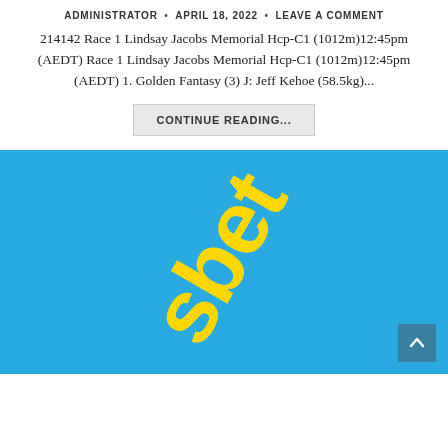ADMINISTRATOR • APRIL 18, 2022 • LEAVE A COMMENT
214142 Race 1 Lindsay Jacobs Memorial Hcp-C1 (1012m)12:45pm (AEDT) Race 1 Lindsay Jacobs Memorial Hcp-C1 (1012m)12:45pm (AEDT) 1. Golden Fantasy (3) J: Jeff Kehoe (58.5kg)...
CONTINUE READING...
[Figure (logo): Blue background with yellow rotated 'sbet' text/logo — appears to be a sports betting brand logo displayed diagonally]